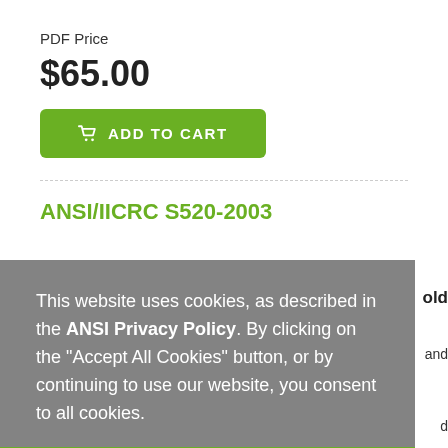PDF Price
$65.00
ADD TO CART
ANSI/IICRC S520-2003
This website uses cookies, as described in the ANSI Privacy Policy. By clicking on the "Accept All Cookies" button, or by continuing to use our website, you consent to all cookies.
Accept All Cookies
assumes that the determination and correction of the